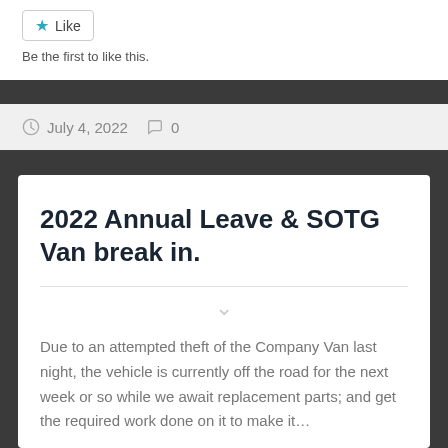Like
Be the first to like this.
July 4, 2022  0
2022 Annual Leave & SOTG Van break in.
Due to an attempted theft of the Company Van last night, the vehicle is currently off the road for the next week or so while we await replacement parts; and get the required work done on it to make it…
Continue Reading →